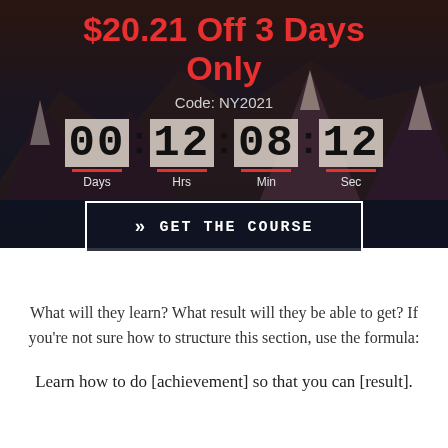$20.21 Off 3 Days Only
Code: NY2021
[Figure (infographic): Countdown timer showing 00 Days : 12 Hrs : 08 Min : 12 Sec with red underlines under each number unit]
» GET THE COURSE
What will they learn? What result will they be able to get? If you're not sure how to structure this section, use the formula:
Learn how to do [achievement] so that you can [result].